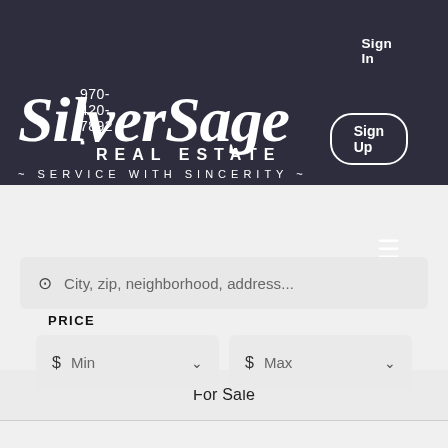Sign In
970-420-7892 ▪
Sign Up
SilverSage REAL ESTATE ~ SERVICE WITH SINCERITY ~
For Sale
City, zip, neighborhood, address...
PRICE
$ Min
$ Max